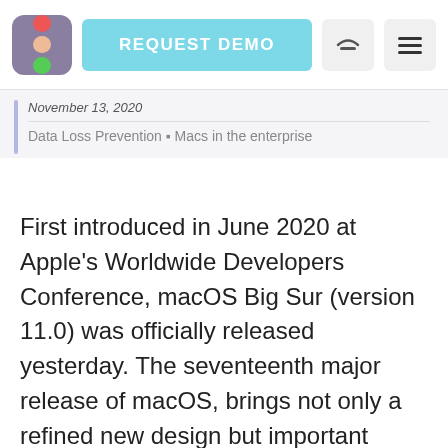[Figure (screenshot): Website navigation bar with a colorful traffic-light logo icon, a cyan 'REQUEST DEMO' button, a phone icon button, and a hamburger menu icon button]
November 13, 2020
Data Loss Prevention • Macs in the enterprise
First introduced in June 2020 at Apple's Worldwide Developers Conference, macOS Big Sur (version 11.0) was officially released yesterday. The seventeenth major release of macOS, brings not only a refined new design but important changes regarding safety and privacy too.